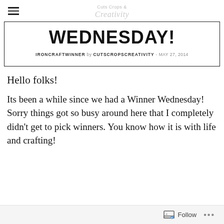Cuts Crops & Creativity
WEDNESDAY!
IRONCRAFTWINNER by CUTSCROPSCREATIVITY - MAY 27, 2014
Hello folks!
Its been a while since we had a Winner Wednesday! Sorry things got so busy around here that I completely didn't get to pick winners. You know how it is with life and crafting!
Follow ...